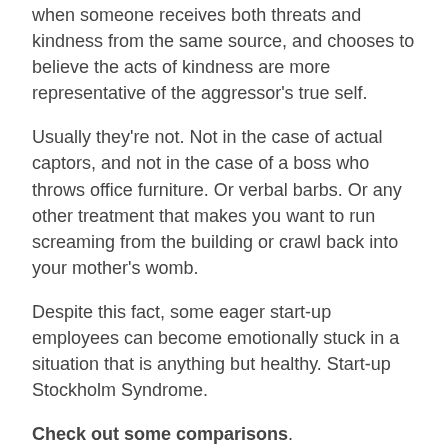when someone receives both threats and kindness from the same source, and chooses to believe the acts of kindness are more representative of the aggressor's true self.
Usually they're not. Not in the case of actual captors, and not in the case of a boss who throws office furniture. Or verbal barbs. Or any other treatment that makes you want to run screaming from the building or crawl back into your mother's womb.
Despite this fact, some eager start-up employees can become emotionally stuck in a situation that is anything but healthy. Start-up Stockholm Syndrome.
Check out some comparisons.
In Stockholm Syndrome captors keep their victims isolated from the outside world. (When did you last have free time with your own people?)